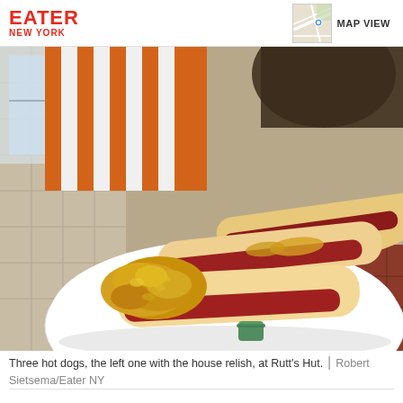EATER NEW YORK | MAP VIEW
[Figure (photo): Three hot dogs in buns on a white plate, the leftmost one topped with a generous mound of yellow house relish (mustard-based), at Rutt's Hut. Background shows a diner interior with tiled floor and striped cushion seating.]
Three hot dogs, the left one with the house relish, at Rutt's Hut.  |  Robert Sietsema/Eater NY